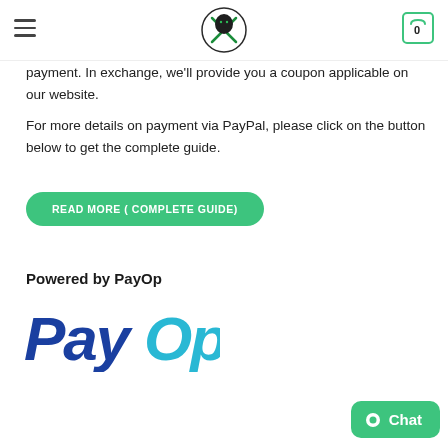payment. In exchange, we'll provide you a coupon applicable on our website.
For more details on payment via PayPal, please click on the button below to get the complete guide.
READ MORE ( COMPLETE GUIDE)
Powered by PayOp
[Figure (logo): PayOp logo — 'Pay' in dark blue italic bold, 'Op' in teal/cyan italic bold]
Chat